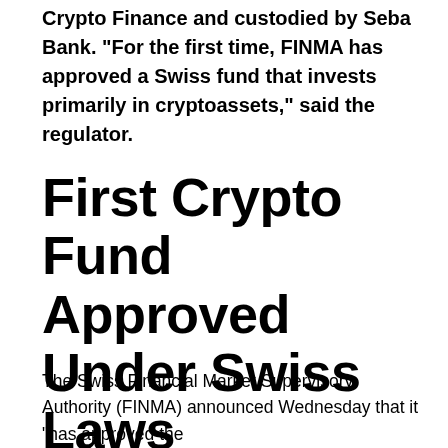Crypto Finance and custodied by Seba Bank. “For the first time, FINMA has approved a Swiss fund that invests primarily in cryptoassets,” said the regulator.
First Crypto Fund Approved Under Swiss Laws
The Swiss Financial Market Supervisory Authority (FINMA) announced Wednesday that it “has approved the